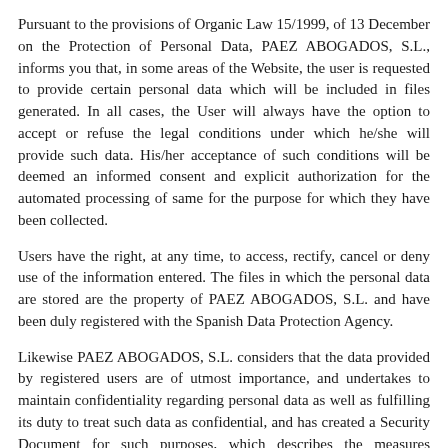Pursuant to the provisions of Organic Law 15/1999, of 13 December on the Protection of Personal Data, PAEZ ABOGADOS, S.L., informs you that, in some areas of the Website, the user is requested to provide certain personal data which will be included in files generated. In all cases, the User will always have the option to accept or refuse the legal conditions under which he/she will provide such data. His/her acceptance of such conditions will be deemed an informed consent and explicit authorization for the automated processing of same for the purpose for which they have been collected.
Users have the right, at any time, to access, rectify, cancel or deny use of the information entered. The files in which the personal data are stored are the property of PAEZ ABOGADOS, S.L. and have been duly registered with the Spanish Data Protection Agency.
Likewise PAEZ ABOGADOS, S.L. considers that the data provided by registered users are of utmost importance, and undertakes to maintain confidentiality regarding personal data as well as fulfilling its duty to treat such data as confidential, and has created a Security Document for such purposes, which describes the measures intended for protecting the confidentiality of the personal data it has in its possession, in accordance with Organic Law 15/1999 of December and its implementing provisions.